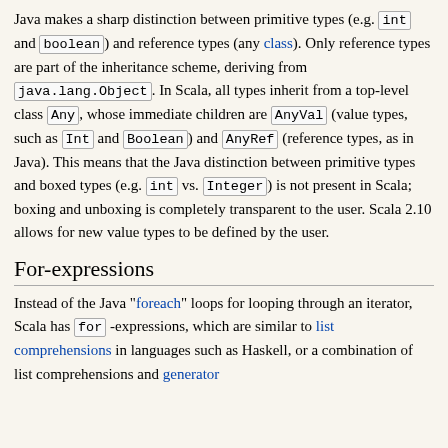Java makes a sharp distinction between primitive types (e.g. int and boolean) and reference types (any class). Only reference types are part of the inheritance scheme, deriving from java.lang.Object. In Scala, all types inherit from a top-level class Any, whose immediate children are AnyVal (value types, such as Int and Boolean) and AnyRef (reference types, as in Java). This means that the Java distinction between primitive types and boxed types (e.g. int vs. Integer) is not present in Scala; boxing and unboxing is completely transparent to the user. Scala 2.10 allows for new value types to be defined by the user.
For-expressions
Instead of the Java "foreach" loops for looping through an iterator, Scala has for-expressions, which are similar to list comprehensions in languages such as Haskell, or a combination of list comprehensions and generator